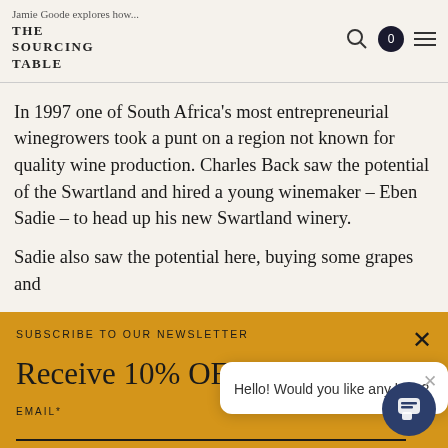Jamie Goode explores how... THE SOURCING TABLE
In 1997 one of South Africa's most entrepreneurial winegrowers took a punt on a region not known for quality wine production. Charles Back saw the potential of the Swartland and hired a young winemaker – Eben Sadie – to head up his new Swartland winery.
Sadie also saw the potential here, buying some grapes and
SUBSCRIBE TO OUR NEWSLETTER
Receive 10% OF
EMAIL*
FIRST NAME
[Figure (screenshot): Chat popup saying 'Hello! Would you like any help?' with a close X button, and a dark blue chat bubble button in bottom right corner]